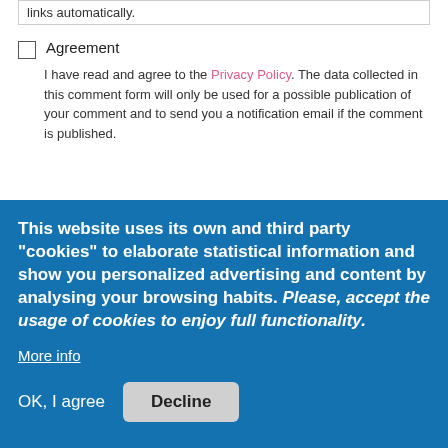links automatically.
Agreement
I have read and agree to the Privacy Policy. The data collected in this comment form will only be used for a possible publication of your comment and to send you a notification email if the comment is published.
This website uses its own and third party "cookies" to elaborate statistical information and show you personalized advertising and content by analysing your browsing habits. Please, accept the usage of cookies to enjoy full functionality.
More info
OK, I agree
Decline